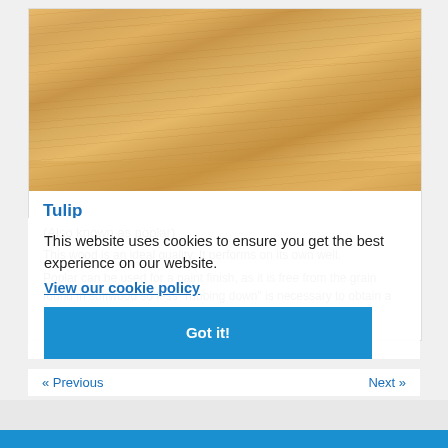[Figure (photo): Close-up photo of light-colored wood grain surface (tulip/poplar wood), showing horizontal grain lines in warm beige and tan tones.]
Tulip
(Also known as poplar)
This wood is an ideal quality. It performs on its own well. Poplar can be used for a paint finish, as it is free from the grain found in softwood so less "rubbing down" is necessary to obtain a very smooth surface.
This website uses cookies to ensure you get the best experience on our website.
View our cookie policy
Got it!
« Previous
Next »